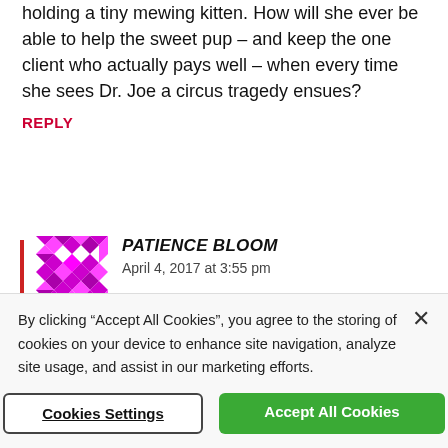holding a tiny mewing kitten. How will she ever be able to help the sweet pup – and keep the one client who actually pays well – when every time she sees Dr. Joe a circus tragedy ensues?
REPLY
PATIENCE BLOOM
April 4, 2017 at 3:55 pm
By clicking "Accept All Cookies", you agree to the storing of cookies on your device to enhance site navigation, analyze site usage, and assist in our marketing efforts.